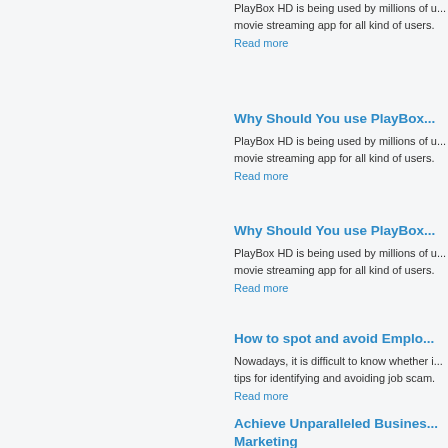PlayBox HD is being used by millions of u... movie streaming app for all kind of users.
Read more
Why Should You use PlayBox...
PlayBox HD is being used by millions of u... movie streaming app for all kind of users.
Read more
Why Should You use PlayBox...
PlayBox HD is being used by millions of u... movie streaming app for all kind of users.
Read more
How to spot and avoid Emplo...
Nowadays, it is difficult to know whether i... tips for identifying and avoiding job scam.
Read more
Achieve Unparalleled Busines... Marketing